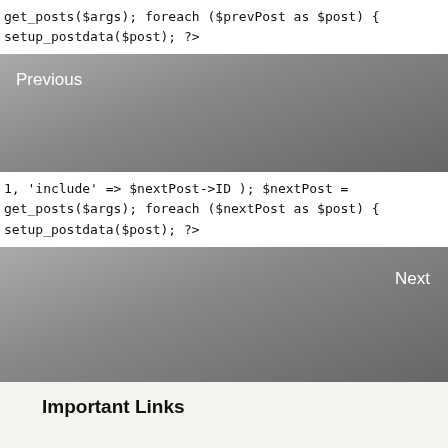get_posts($args); foreach ($prevPost as $post) {
setup_postdata($post); ?>
[Figure (screenshot): Gray gradient preview box with 'Previous' label in white text at top-left]
1, 'include' => $nextPost->ID ); $nextPost =
get_posts($args); foreach ($nextPost as $post) {
setup_postdata($post); ?>
[Figure (screenshot): Gray gradient preview box with 'Next' label in white text at top-right]
Important Links